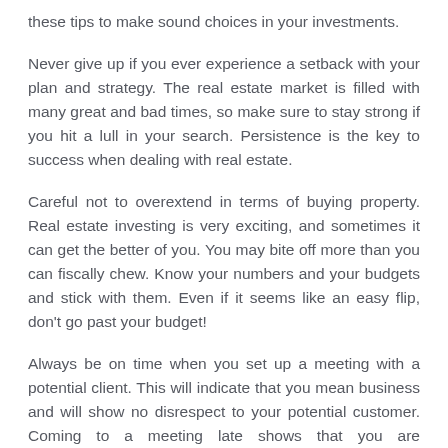these tips to make sound choices in your investments.
Never give up if you ever experience a setback with your plan and strategy. The real estate market is filled with many great and bad times, so make sure to stay strong if you hit a lull in your search. Persistence is the key to success when dealing with real estate.
Careful not to overextend in terms of buying property. Real estate investing is very exciting, and sometimes it can get the better of you. You may bite off more than you can fiscally chew. Know your numbers and your budgets and stick with them. Even if it seems like an easy flip, don't go past your budget!
Always be on time when you set up a meeting with a potential client. This will indicate that you mean business and will show no disrespect to your potential customer. Coming to a meeting late shows that you are unorganized and do not care about your customers,